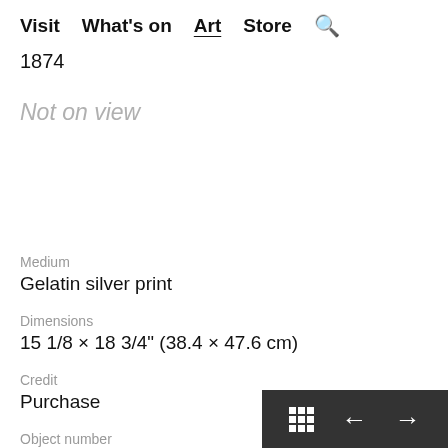Visit  What's on  Art  Store  🔍
1874
Not on view
Medium
Gelatin silver print
Dimensions
15 1/8 × 18 3/4" (38.4 × 47.6 cm)
Credit
Purchase
Object number